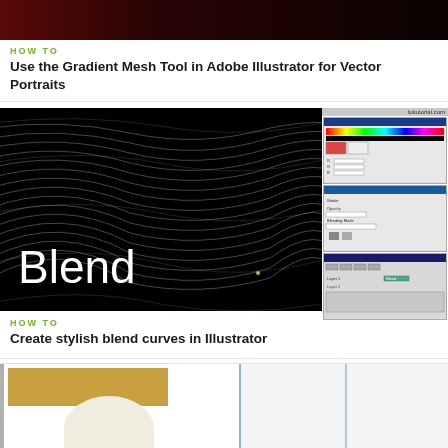[Figure (screenshot): Dark banner image with reddish-dark gradient background at top of page]
HOW TO
Use the Gradient Mesh Tool in Adobe Illustrator for Vector Portraits
[Figure (screenshot): Screenshot showing blend curves in Adobe Illustrator – black background with white wavy/curved lines and the word Blend in white text. Side panels show Illustrator UI panels including layers and properties.]
HOW TO
Create stylish blend curves in Illustrator
[Figure (screenshot): Partial screenshot at bottom showing a design with golden/tan colored rectangular element and cream/beige rounded shape, with vertical dividing line]